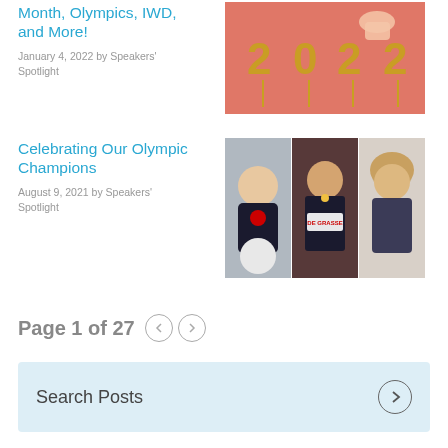Month, Olympics, IWD, and More!
January 4, 2022 by Speakers' Spotlight
[Figure (photo): Photo showing gold number candles spelling 2022 on a pink/salmon background with a hand touching them]
Celebrating Our Olympic Champions
August 9, 2021 by Speakers' Spotlight
[Figure (photo): Composite of three photos: a smiling person in a Canada jersey holding a ball, André De Grasse wearing a Canada medal bib, and a woman with curly hair against a light background]
Page 1 of 27
Search Posts
BLOG CATEGORIES